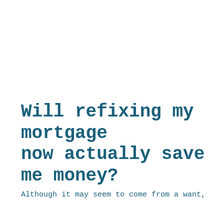Will refixing my mortgage now actually save me money?
Although it may seem to come from a want, the